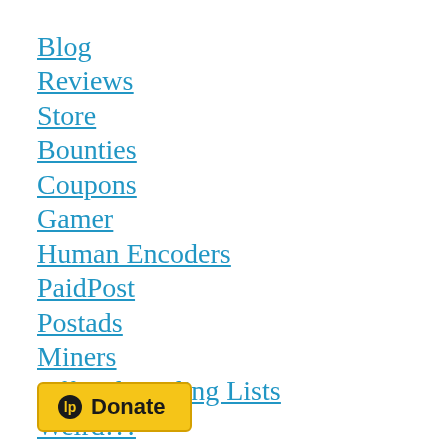Blog
Reviews
Store
Bounties
Coupons
Gamer
Human Encoders
PaidPost
Postads
Miners
Official Mailing Lists
Weird!?!
AdClub
AdShare
[Figure (other): Liberapay Donate button with yellow background and Liberapay logo icon]